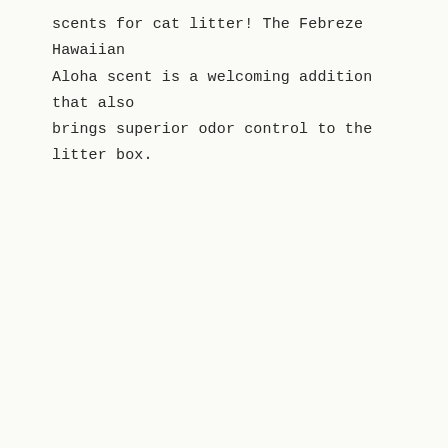scents for cat litter! The Febreze Hawaiian Aloha scent is a welcoming addition that also brings superior odor control to the litter box.